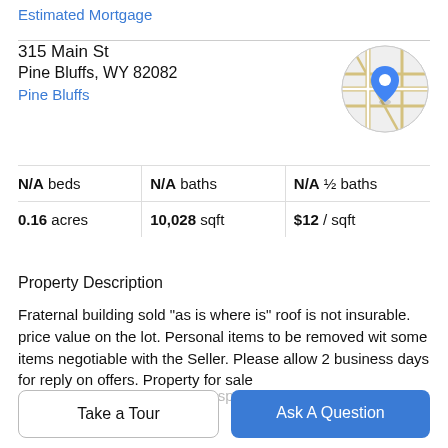Estimated Mortgage
315 Main St
Pine Bluffs, WY 82082
Pine Bluffs
[Figure (map): Circular map thumbnail showing street map with blue location pin marker in center]
| N/A beds | N/A baths | N/A ½ baths |
| 0.16 acres | 10,028 sqft | $12 / sqft |
Property Description
Fraternal building sold "as is where is" roof is not insurable. price value on the lot. Personal items to be removed wit some items negotiable with the Seller. Please allow 2 business days for reply on offers. Property for sale only. Sellers will not lease the space.
Take a Tour
Ask A Question